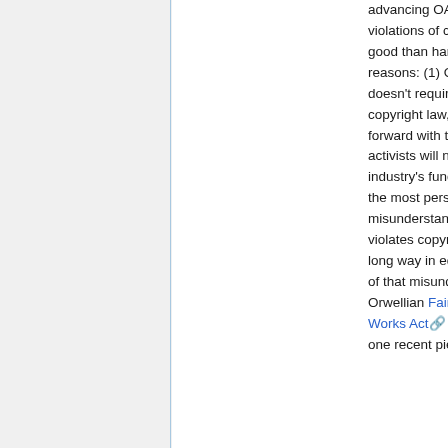advancing OA through deliberate violations of copyright law would do more good than harm. I have three basic reasons: (1) OA is already lawful and doesn't require the reform or violation of copyright law, even if it could leap forward with the right reforms. (2) OA activists will never match the publishing industry's funds for litigation. (3) One of the most persistent and harmful misunderstandings of OA is that it violates copyright law. We've come a long way in educating policy-makers out of that misunderstanding. But the Orwellian Fair Copyright in Research Works Act (a.k.a. Conyers bill) is just one recent piece of evidence that we still